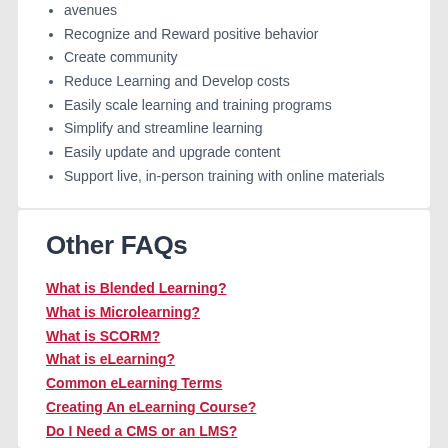avenues
Recognize and Reward positive behavior
Create community
Reduce Learning and Develop costs
Easily scale learning and training programs
Simplify and streamline learning
Easily update and upgrade content
Support live, in-person training with online materials
Other FAQs
What is Blended Learning?
What is Microlearning?
What is SCORM?
What is eLearning?
Common eLearning Terms
Creating An eLearning Course?
Do I Need a CMS or an LMS?
Difference Between eLearning and an LMS
Who uses the Wisetail LMS?
Why use an LMS?
What is Gamification?